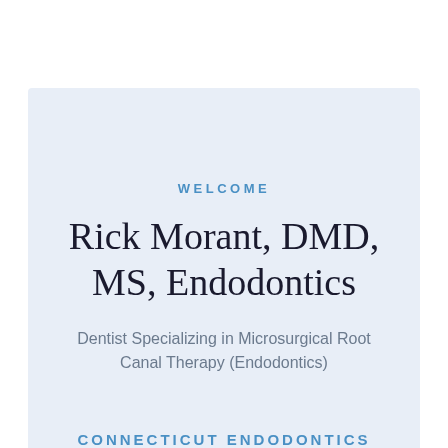WELCOME
Rick Morant, DMD, MS, Endodontics
Dentist Specializing in Microsurgical Root Canal Therapy (Endodontics)
CONNECTICUT ENDODONTICS